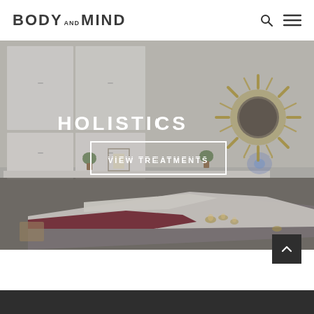BODY AND MIND
[Figure (photo): Interior of a holistic treatment room with a massage table draped in white and burgundy linens, white cabinet storage on the left, candles on the right, and a decorative starburst sunburst mirror on the right wall. Overlay text shows HOLISTICS and a VIEW TREATMENTS button.]
HOLISTICS
VIEW TREATMENTS